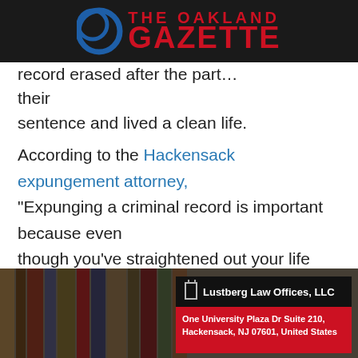THE OAKLAND GAZETTE
record erased after the part... their sentence and lived a clean life.
According to the Hackensack expungement attorney, "Expunging a criminal record is important because even though you've straightened out your life and are now a law-abiding, productive citizen, anyone can access your prior criminal record, including individuals, employers, insurance companies, lenders, educational institutions, and the public."
[Figure (photo): Image of law books on a shelf with an overlay card showing Lustberg Law Offices, LLC contact information: One University Plaza Dr Suite 210, Hackensack, NJ 07601, United States]